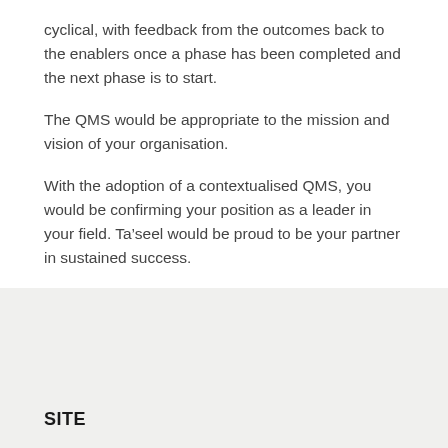cyclical, with feedback from the outcomes back to the enablers once a phase has been completed and the next phase is to start.
The QMS would be appropriate to the mission and vision of your organisation.
With the adoption of a contextualised QMS, you would be confirming your position as a leader in your field. Ta’seel would be proud to be your partner in sustained success.
SITE